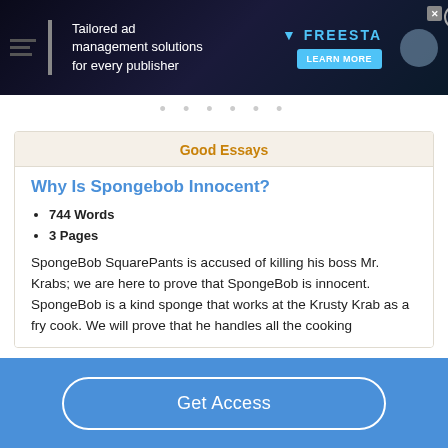[Figure (screenshot): Advertisement banner for Freestar ad management solutions with dark space-themed background]
Good Essays
Why Is Spongebob Innocent?
744 Words
3 Pages
SpongeBob SquarePants is accused of killing his boss Mr. Krabs; we are here to prove that SpongeBob is innocent. SpongeBob is a kind sponge that works at the Krusty Krab as a fry cook. We will prove that he handles all the cooking
Get Access